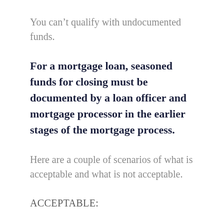You can't qualify with undocumented funds.
For a mortgage loan, seasoned funds for closing must be documented by a loan officer and mortgage processor in the earlier stages of the mortgage process.
Here are a couple of scenarios of what is acceptable and what is not acceptable.
ACCEPTABLE: